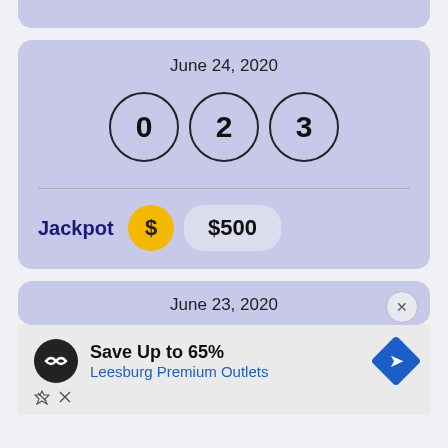[Figure (other): Partial lottery result card at top, cropped]
June 24, 2020
0  2  3
Jackpot  $  $500
June 23, 2020
[Figure (screenshot): Advertisement banner: Save Up to 65% Leesburg Premium Outlets with logo and navigation icon]